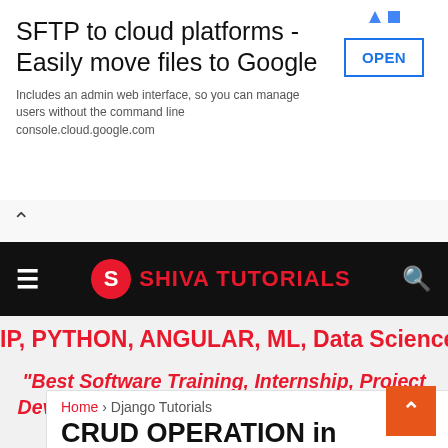[Figure (screenshot): Advertisement banner for SFTP to cloud file transfer service with OPEN button]
SFTP to cloud platforms - Easily move files to Google
Includes an admin web interface, so you can manage users without the command line console.cloud.google.com
[Figure (logo): Shiva Tutorials logo and navigation bar with hamburger menu and search icon]
IP, PYTHON, ANGULAR, ML, Data Science,
"Best Software Training, Internship, Project Development center of Indore India, Helpline 780506-3968"
Home > Django Tutorials
CRUD OPERATION in